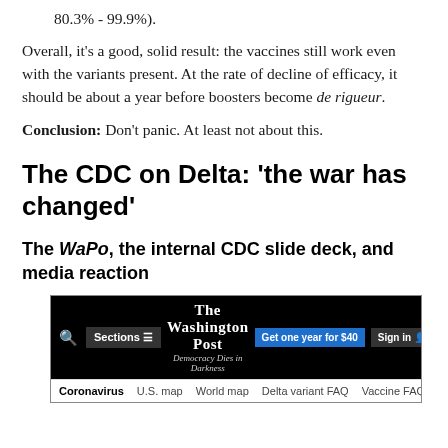80.3% - 99.9%).
Overall, it's a good, solid result: the vaccines still work even with the variants present. At the rate of decline of efficacy, it should be about a year before boosters become de rigueur.
Conclusion: Don't panic. At least not about this.
The CDC on Delta: 'the war has changed'
The WaPo, the internal CDC slide deck, and media reaction
[Figure (screenshot): Screenshot of The Washington Post website header showing logo 'The Washington Post – Democracy Dies in Darkness', navigation buttons including Sections, Subscribe 'Get one year for $40', Sign in, and a navigation bar with links: Coronavirus, U.S. map, World map, Delta variant FAQ, Vaccine FAQ, Vaccine tracker, A p...]